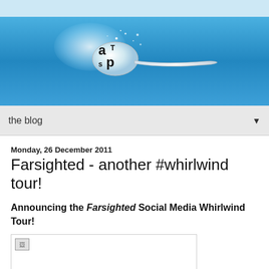[Figure (logo): ATSP blog logo: stylized text 'aT sp' on a spoon with sparkle glow, blue gradient banner background]
the blog
Monday, 26 December 2011
Farsighted - another #whirlwind tour!
Announcing the Farsighted Social Media Whirlwind Tour!
[Figure (photo): Broken/missing image placeholder]